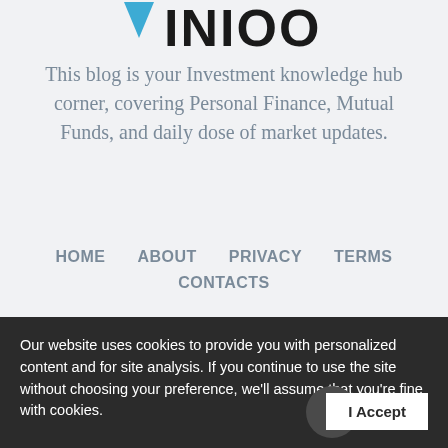[Figure (logo): Partially visible logo with blue downward arrow/triangle and bold black lettering (partially cropped at top)]
This blog is your Investment knowledge hub corner, covering Personal Finance, Mutual Funds, and daily dose of market updates.
HOME   ABOUT   PRIVACY   TERMS   CONTACTS
Copyright © 2020 Mihika Insurance & Financial Corner | All rights reserved.
Our website uses cookies to provide you with personalized content and for site analysis. If you continue to use the site without choosing your preference, we'll assume that you're fine with cookies.